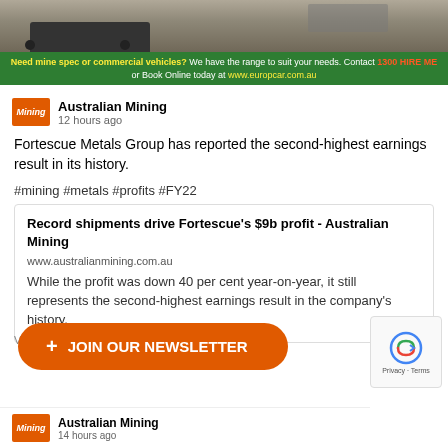[Figure (photo): Advertisement banner for Europcar mine spec and commercial vehicles with green background and vehicle photo]
Australian Mining
12 hours ago
Fortescue Metals Group has reported the second-highest earnings result in its history.
#mining #metals #profits #FY22
Record shipments drive Fortescue's $9b profit - Australian Mining
www.australianmining.com.au
While the profit was down 40 per cent year-on-year, it still represents the second-highest earnings result in the company's history.
+ JOIN OUR NEWSLETTER
Australian Mining
14 hours ago